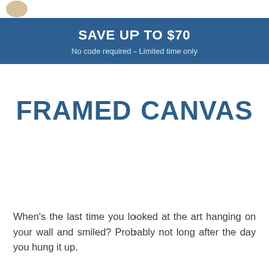SAVE UP TO $70
No code required - Limited time only
FRAMED CANVAS
When's the last time you looked at the art hanging on your wall and smiled? Probably not long after the day you hung it up.